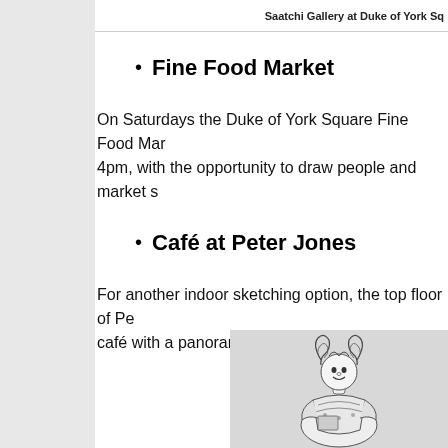Saatchi Gallery at Duke of York Sq
Fine Food Market
On Saturdays the Duke of York Square Fine Food Mar 4pm, with the opportunity to draw people and market s
Café at Peter Jones
For another indoor sketching option, the top floor of Pe café with a panoramic view over West London.
[Figure (illustration): Black and white sketch illustration of a decorative figurine or costumed character with elaborate curly hair/wig, smiling face, and ornate clothing]